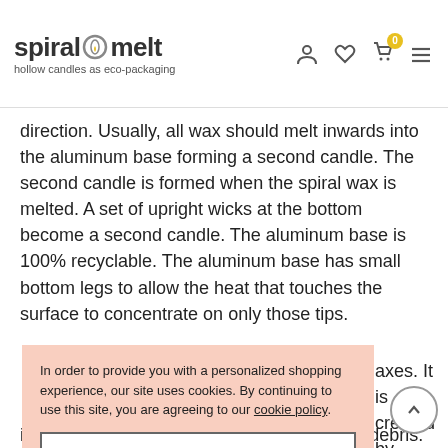spiral melt — hollow candles as eco-packaging
direction. Usually, all wax should melt inwards into the aluminum base forming a second candle. The second candle is formed when the spiral wax is melted. A set of upright wicks at the bottom become a second candle. The aluminum base is 100% recyclable. The aluminum base has small bottom legs to allow the heat that touches the surface to concentrate on only those tips.
In order to provide you with a personalized shopping experience, our site uses cookies. By continuing to use this site, you are agreeing to our cookie policy.
ACCEPT
…axes. It is created by …r eliminating dust, . …ndle/package. Remove …om wicks so each wick is facing upwards. Keep wax pool free from debris. Candle wax